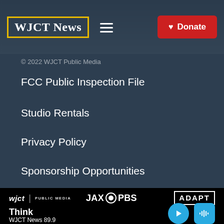[Figure (logo): WJCT News logo in yellow-bordered box with hamburger menu and red Donate button]
© 2022 WJCT Public Media
FCC Public Inspection File
Studio Rentals
Privacy Policy
Sponsorship Opportunities
[Figure (logo): WJCT Public Media, JAX PBS, and ADAPT logos on black bar]
Think
WJCT News 89.9